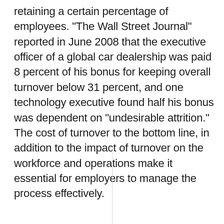retaining a certain percentage of employees. "The Wall Street Journal" reported in June 2008 that the executive officer of a global car dealership was paid 8 percent of his bonus for keeping overall turnover below 31 percent, and one technology executive found half his bonus was dependent on "undesirable attrition." The cost of turnover to the bottom line, in addition to the impact of turnover on the workforce and operations make it essential for employers to manage the process effectively.